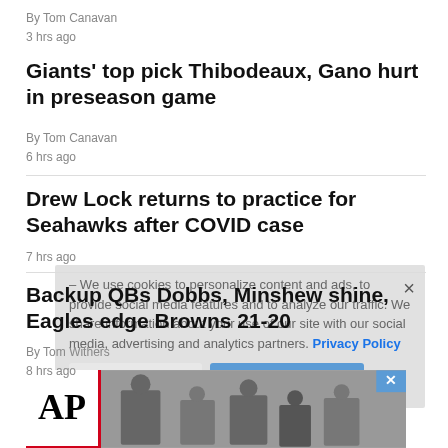By Tom Canavan
3 hrs ago
Giants' top pick Thibodeaux, Gano hurt in preseason game
By Tom Canavan
6 hrs ago
Drew Lock returns to practice for Seahawks after COVID case
7 hrs ago
Backup QBs Dobbs, Minshew shine, Eagles edge Browns 21-20
By Tom Withers
8 hrs ago
We use cookies to personalize content and ads, to provide social media features and to analyze our traffic. We share information about your use of our site with our social media, advertising and analytics partners. Privacy Policy
[Figure (screenshot): AP news advertisement banner with AP logo and news photo]